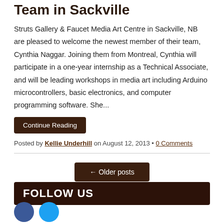Team in Sackville
Struts Gallery & Faucet Media Art Centre in Sackville, NB are pleased to welcome the newest member of their team, Cynthia Naggar. Joining them from Montreal, Cynthia will participate in a one-year internship as a Technical Associate, and will be leading workshops in media art including Arduino microcontrollers, basic electronics, and computer programming software. She...
Continue Reading
Posted by Kellie Underhill on August 12, 2013 • 0 Comments
← Older posts
FOLLOW US